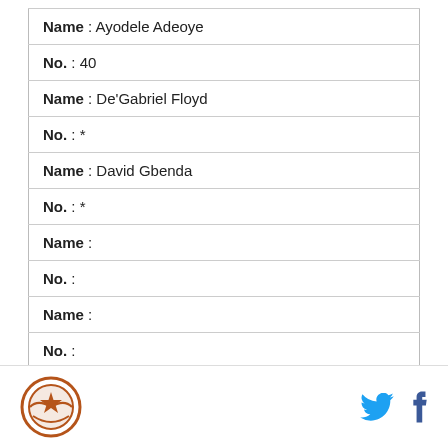| Name : Ayodele Adeoye |
| No. : 40 |
| Name : De'Gabriel Floyd |
| No. : * |
| Name : David Gbenda |
| No. : * |
| Name : |
| No. : |
| Name : |
| No. : |
| Name : |
[Figure (logo): Circular logo with a star and bird/plane motif in orange/brown color scheme]